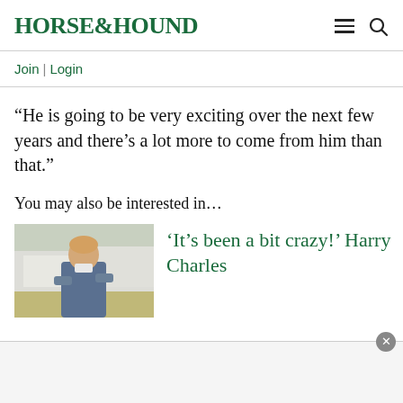HORSE&HOUND
Join | Login
“He is going to be very exciting over the next few years and there’s a lot more to come from him than that.”
You may also be interested in…
[Figure (photo): Photo of a young man with arms crossed, standing outdoors near an equestrian venue]
‘It’s been a bit crazy!’ Harry Charles